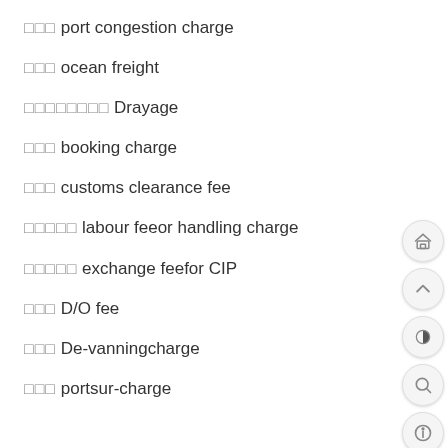□□□ port congestion charge
□□□ ocean freight
□□□□□□□□ Drayage
□□□ booking charge
□□□ customs clearance fee
□□□□□ labour feeor handling charge
□□□□□ exchange feefor CIP
□□□ D/O fee
□□□ De-vanningcharge
□□□ portsur-charge